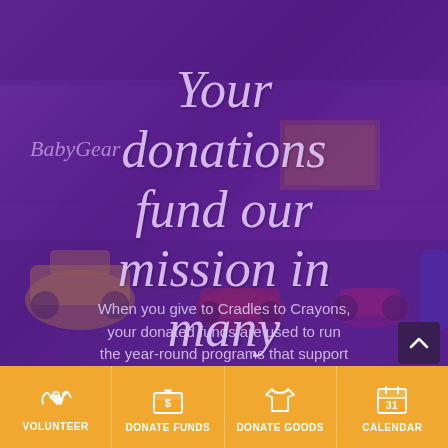[Figure (photo): Background photo of a toy/baby gear store or warehouse with children's ride-on toys (Little Tikes cars, tricycles) visible under a purple overlay. The Cradles to Crayons organization page hero image.]
Your donations fund our mission in many important ways
When you give to Cradles to Crayons, your donated funds are used to run the year-round programs that support our mission of providing
VOLUNTEER
DONATE FUNDS
DONATE GOODS
CALENDAR